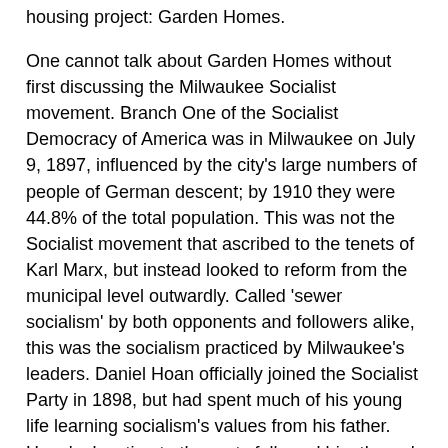housing project: Garden Homes.
One cannot talk about Garden Homes without first discussing the Milwaukee Socialist movement. Branch One of the Socialist Democracy of America was in Milwaukee on July 9, 1897, influenced by the city's large numbers of people of German descent; by 1910 they were 44.8% of the total population. This was not the Socialist movement that ascribed to the tenets of Karl Marx, but instead looked to reform from the municipal level outwardly. Called 'sewer socialism' by both opponents and followers alike, this was the socialism practiced by Milwaukee's leaders. Daniel Hoan officially joined the Socialist Party in 1898, but had spent much of his young life learning socialism's values from his father. Hoan's devotion to the party followed him through his undergraduate career at the University of Wisconsin and his postgraduate work at Chicago-Kent